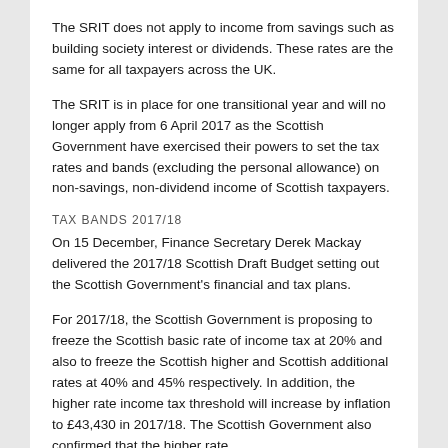The SRIT does not apply to income from savings such as building society interest or dividends. These rates are the same for all taxpayers across the UK.
The SRIT is in place for one transitional year and will no longer apply from 6 April 2017 as the Scottish Government have exercised their powers to set the tax rates and bands (excluding the personal allowance) on non-savings, non-dividend income of Scottish taxpayers.
TAX BANDS 2017/18
On 15 December, Finance Secretary Derek Mackay delivered the 2017/18 Scottish Draft Budget setting out the Scottish Government's financial and tax plans.
For 2017/18, the Scottish Government is proposing to freeze the Scottish basic rate of income tax at 20% and also to freeze the Scottish higher and Scottish additional rates at 40% and 45% respectively. In addition, the higher rate income tax threshold will increase by inflation to £43,430 in 2017/18. The Scottish Government also confirmed that the higher rate